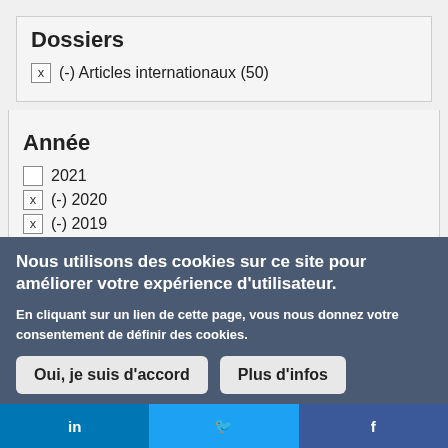Dossiers
x (-) Articles internationaux (50)
Année
2021
x (-) 2020
x (-) 2019
x (-) 2018
Nous utilisons des cookies sur ce site pour améliorer votre expérience d'utilisateur.
En cliquant sur un lien de cette page, vous nous donnez votre consentement de définir des cookies.
Oui, je suis d'accord   Plus d'infos
in   🐦   f